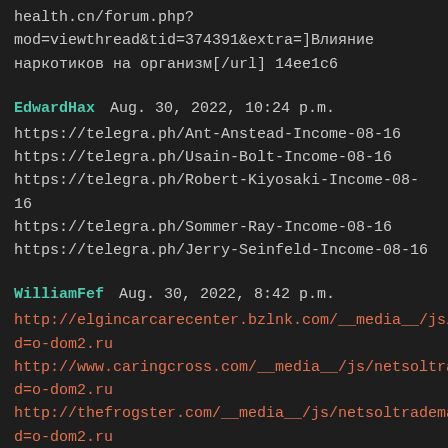health.cn/forum.php?mod=viewthread&tid=374391&extra=]Влияние наркотиков на организм[/url] 14ee1c6
EdwardHax   Aug. 30, 2022, 10:24 p.m.
https://telegra.ph/Ant-Anstead-Income-08-16
https://telegra.ph/Usain-Bolt-Income-08-16
https://telegra.ph/Robert-Kiyosaki-Income-08-16
https://telegra.ph/Sommer-Ray-Income-08-16
https://telegra.ph/Jerry-Seinfeld-Income-08-16
WilliamFef   Aug. 30, 2022, 8:42 p.m.
http://elgincarcarecenter.bzlnk.com/__media__/js/netsol...d=o-dom2.ru
http://www.caringcross.com/__media__/js/netsoltradem...d=o-dom2.ru
http://thefrogster.com/__media__/js/netsoltrademark.ph...d=o-dom2.ru
EdwardHax   Aug. 30, 2022, 8:11 p.m.